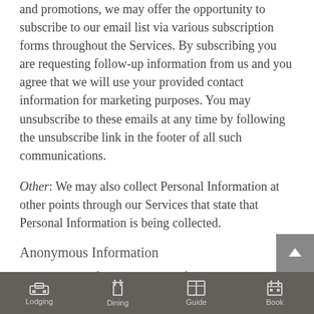and promotions, we may offer the opportunity to subscribe to our email list via various subscription forms throughout the Services. By subscribing you are requesting follow-up information from us and you agree that we will use your provided contact information for marketing purposes. You may unsubscribe to these emails at any time by following the unsubscribe link in the footer of all such communications.
Other: We may also collect Personal Information at other points through our Services that state that Personal Information is being collected.
Anonymous Information
We collect the following types of Anonymous Information
Lodging   Dining   Guide   Book